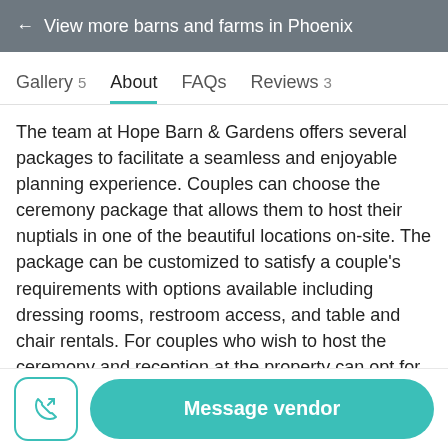← View more barns and farms in Phoenix
Gallery 5   About   FAQs   Reviews 3
The team at Hope Barn & Gardens offers several packages to facilitate a seamless and enjoyable planning experience. Couples can choose the ceremony package that allows them to host their nuptials in one of the beautiful locations on-site. The package can be customized to satisfy a couple's requirements with options available including dressing rooms, restroom access, and table and chair rentals. For couples who wish to host the ceremony and reception at the property can opt for the bundle option. This allows couples access to the entire facility on the day, a rehearsal dinner, event coordination, and catering provided
Message vendor